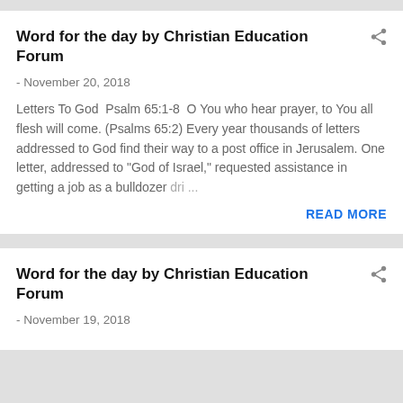Word for the day by Christian Education Forum
- November 20, 2018
Letters To God  Psalm 65:1-8  O You who hear prayer, to You all flesh will come. (Psalms 65:2) Every year thousands of letters addressed to God find their way to a post office in Jerusalem. One letter, addressed to "God of Israel," requested assistance in getting a job as a bulldozer dri...
READ MORE
Word for the day by Christian Education Forum
- November 19, 2018